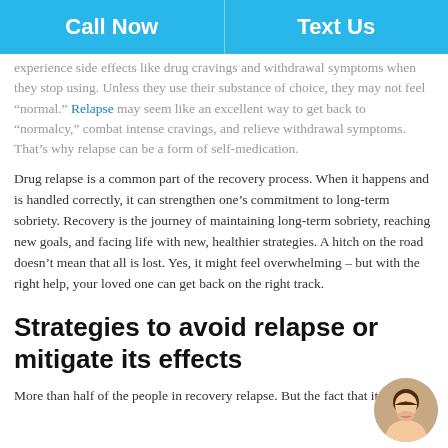Call Now | Text Us
experience side effects like drug cravings and withdrawal symptoms when they stop using. Unless they use their substance of choice, they may not feel “normal.” Relapse may seem like an excellent way to get back to “normalcy,” combat intense cravings, and relieve withdrawal symptoms. That’s why relapse can be a form of self-medication.
Drug relapse is a common part of the recovery process. When it happens and is handled correctly, it can strengthen one’s commitment to long-term sobriety. Recovery is the journey of maintaining long-term sobriety, reaching new goals, and facing life with new, healthier strategies. A hitch on the road doesn’t mean that all is lost. Yes, it might feel overwhelming – but with the right help, your loved one can get back on the right track.
Strategies to avoid relapse or mitigate its effects
More than half of the people in recovery relapse. But the fact that it is
[Figure (photo): Circular avatar photo of a smiling woman with dark hair]